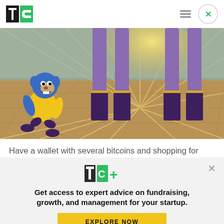TechCrunch logo and navigation
[Figure (illustration): Animated cartoon scene showing a blue cartoon animal character crouching on the left, and two figures in purple costumes with dark boots standing on a yellow/gold reflective floor with a burst of light radiating from behind them.]
Have a wallet with several bitcoins and shopping for
[Figure (logo): TechCrunch TC+ logo in green with a plus sign]
Get access to expert advice on fundraising, growth, and management for your startup.
EXPLORE NOW